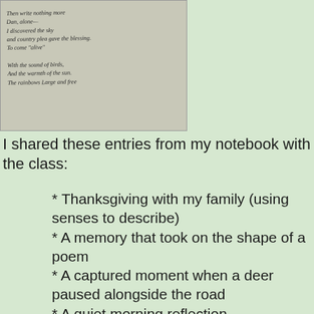[Figure (photo): Handwritten notebook page with poem lines in cursive/script handwriting on a grayish-beige background]
I shared these entries from my notebook with the class:
* Thanksgiving with my family (using senses to describe)
* A memory that took on the shape of a poem
* A captured moment when a deer paused alongside the road
* A quiet morning reflection
* My thoughts about the homeless on a cold, bitter morning
* The beautifully tinted morning sky on the way to school
* A trip to New York City: